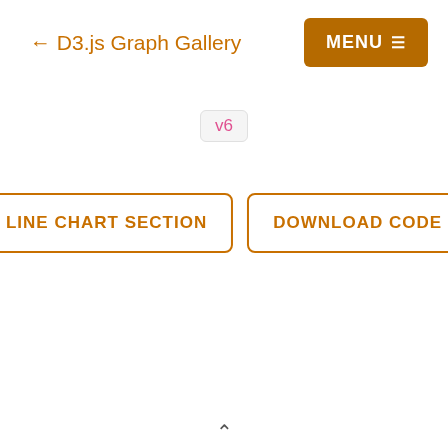← D3.js Graph Gallery
v6
LINE CHART SECTION
DOWNLOAD CODE